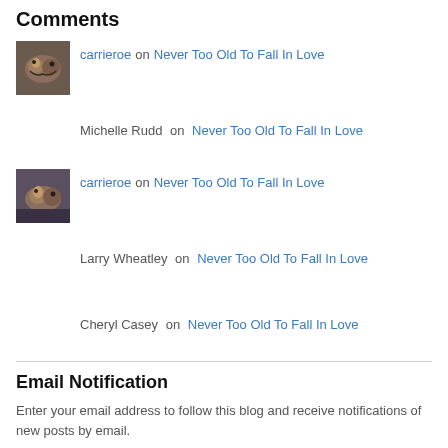Comments
carrieroe on Never Too Old To Fall In Love
Michelle Rudd on Never Too Old To Fall In Love
carrieroe on Never Too Old To Fall In Love
Larry Wheatley on Never Too Old To Fall In Love
Cheryl Casey on Never Too Old To Fall In Love
Email Notification
Enter your email address to follow this blog and receive notifications of new posts by email.